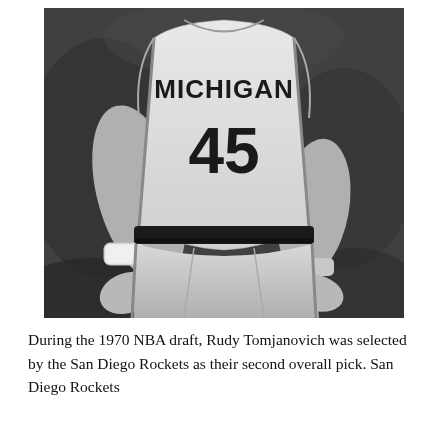[Figure (photo): Black and white photograph of a basketball player wearing a Michigan jersey number 45, hands on hips, with wristband visible on left wrist.]
During the 1970 NBA draft, Rudy Tomjanovich was selected by the San Diego Rockets as their second overall pick. San Diego Rockets